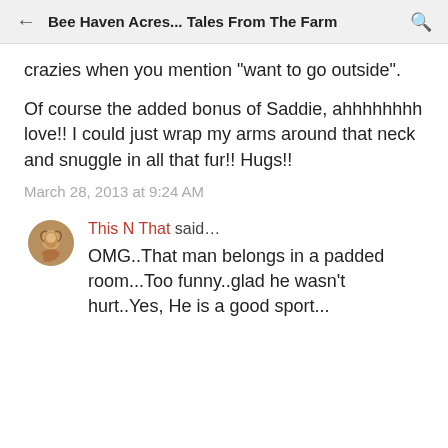Bee Haven Acres... Tales From The Farm
crazies when you mention "want to go outside".
Of course the added bonus of Saddie, ahhhhhhhh love!! I could just wrap my arms around that neck and snuggle in all that fur!! Hugs!!
March 28, 2013 at 9:24 AM
This N That said…
OMG..That man belongs in a padded room...Too funny..glad he wasn't hurt..Yes, He is a good sport...